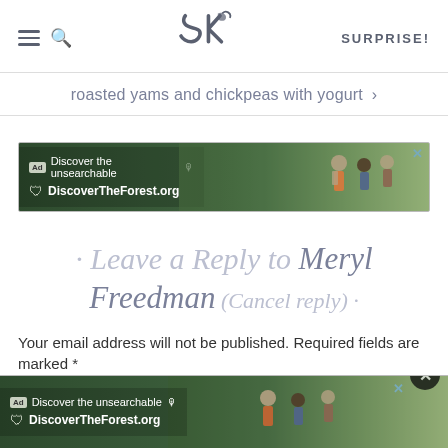SK — SURPRISE!
roasted yams and chickpeas with yogurt >
[Figure (screenshot): Ad banner for DiscoverTheForest.org with text 'Discover the unsearchable' and people hiking in forest background]
· Leave a Reply to Meryl Freedman (Cancel reply) ·
Your email address will not be published. Required fields are marked *
COMMENT *
[Figure (screenshot): Bottom ad banner for DiscoverTheForest.org with close button circle and X button]